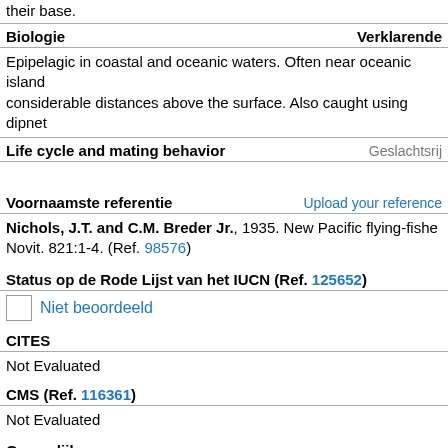their base.
Biologie
Epipelagic in coastal and oceanic waters. Often near oceanic islands at considerable distances above the surface. Also caught using dipnet
Life cycle and mating behavior
Voornaamste referentie
Nichols, J.T. and C.M. Breder Jr., 1935. New Pacific flying-fishe Novit. 821:1-4. (Ref. 98576)
Status op de Rode Lijst van het IUCN (Ref. 125652)
Niet beoordeeld
CITES
Not Evaluated
CMS (Ref. 116361)
Not Evaluated
Gevaarlijk voor mensen